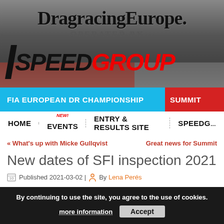[Figure (screenshot): DragracingEurope website header with logo, SpeedGroup branding, navigation bars showing FIA European DR Championship and Summit sections, menu items Home, Events, Entry & Results Site, SpeedG...]
New dates of SFI inspection 2021
Published 2021-03-02 | By Lena Perés
By continuing to use the site, you agree to the use of cookies. more information Accept